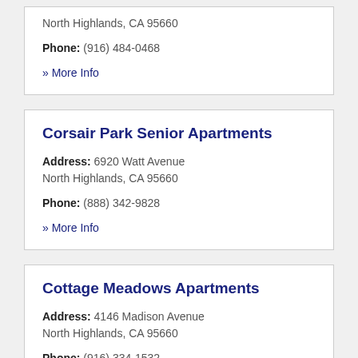North Highlands, CA 95660
Phone: (916) 484-0468
» More Info
Corsair Park Senior Apartments
Address: 6920 Watt Avenue North Highlands, CA 95660
Phone: (888) 342-9828
» More Info
Cottage Meadows Apartments
Address: 4146 Madison Avenue North Highlands, CA 95660
Phone: (916) 334-1532